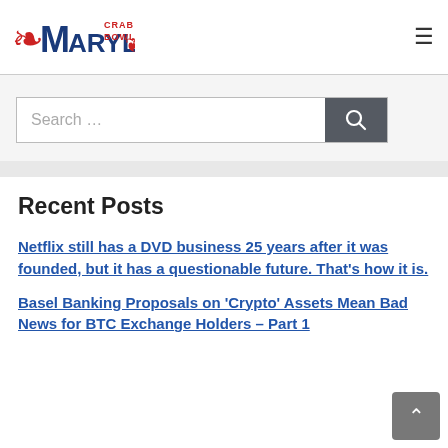Maryland Crab Bowl
Search …
Recent Posts
Netflix still has a DVD business 25 years after it was founded, but it has a questionable future. That's how it is.
Basel Banking Proposals on 'Crypto' Assets Mean Bad News for BTC Exchange Holders – Part 1